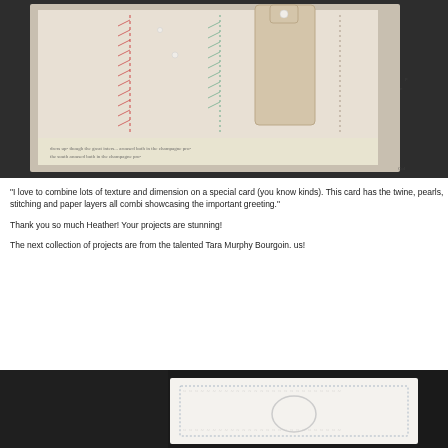[Figure (photo): Close-up photograph of a handmade greeting card with stitching, twine, pearls, and layered paper elements on a dark background]
“I love to combine lots of texture and dimension on a special card (you know kinds). This card has the twine, pearls, stitching and paper layers all combi showcasing the important greeting.”
Thank you so much Heather! Your projects are stunning!
The next collection of projects are from the talented Tara Murphy Bourgoin. us!
[Figure (photo): Partial photograph of a handmade card with decorative border stitching and a circular element on a dark background]